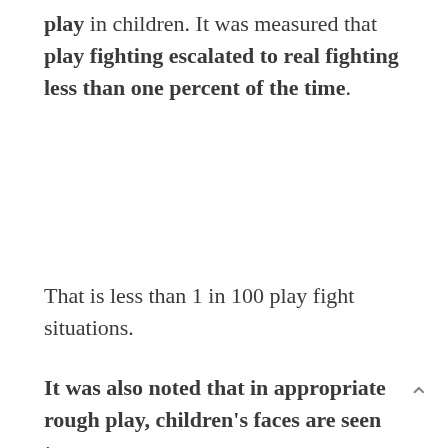play in children. It was measured that play fighting escalated to real fighting less than one percent of the time.
That is less than 1 in 100 play fight situations.
It was also noted that in appropriate rough play, children's faces are seen to